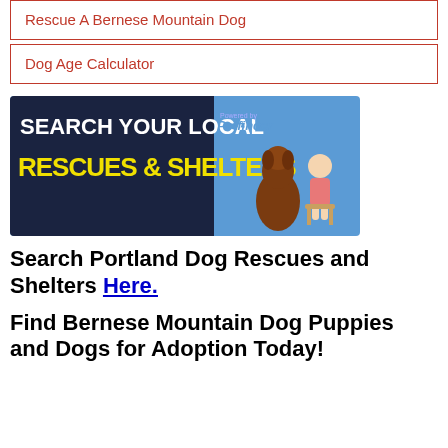Rescue A Bernese Mountain Dog
Dog Age Calculator
[Figure (illustration): Petfinder banner: Search Your Local Rescues & Shelters, powered by Petfinder, with a brown dog and baby sitting together on a blue background]
Search Portland Dog Rescues and Shelters Here.
Find Bernese Mountain Dog Puppies and Dogs for Adoption Today!